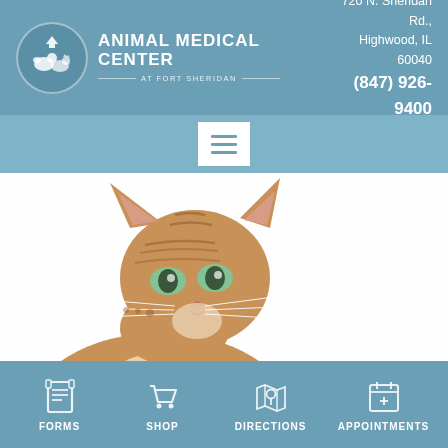[Figure (logo): Animal Medical Center at Fort Sheridan logo with circular emblem and text]
720 N. Sheridan Rd., Highwood, IL 60040
(847) 926-9400
[Figure (other): Hamburger menu navigation button]
[Figure (photo): Close-up photo of a Bengal tabby cat looking upward against white background]
[Figure (infographic): Bottom navigation bar with four icons: FORMS, SHOP, DIRECTIONS, APPOINTMENTS]